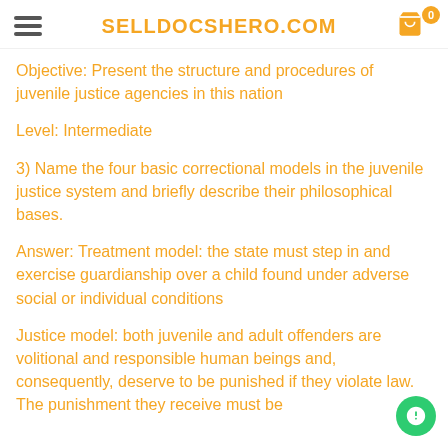SELLDOCSHERO.COM
Objective: Present the structure and procedures of juvenile justice agencies in this nation
Level: Intermediate
3) Name the four basic correctional models in the juvenile justice system and briefly describe their philosophical bases.
Answer: Treatment model: the state must step in and exercise guardianship over a child found under adverse social or individual conditions
Justice model: both juvenile and adult offenders are volitional and responsible human beings and, consequently, deserve to be punished if they violate law. The punishment they receive must be